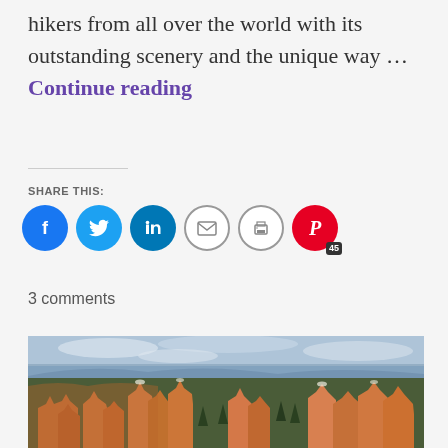hikers from all over the world with its outstanding scenery and the unique way … Continue reading
SHARE THIS:
[Figure (infographic): Social sharing icons: Facebook (blue circle), Twitter (light blue circle), LinkedIn (dark teal circle), Email (grey outline circle with envelope), Print (grey outline circle with printer), Pinterest (red circle with P and badge showing 45)]
3 comments
[Figure (photo): Aerial landscape photo of Bryce Canyon with orange-red hoodoo rock formations, dense green pine trees filling the canyon floor, and a wide panoramic sky with clouds in the background.]